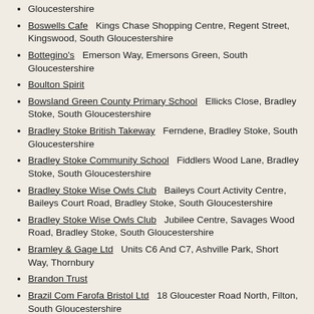Gloucestershire
Boswells Cafe   Kings Chase Shopping Centre, Regent Street, Kingswood, South Gloucestershire
Bottegino's   Emerson Way, Emersons Green, South Gloucestershire
Boulton Spirit
Bowsland Green County Primary School   Ellicks Close, Bradley Stoke, South Gloucestershire
Bradley Stoke British Takeway   Ferndene, Bradley Stoke, South Gloucestershire
Bradley Stoke Community School   Fiddlers Wood Lane, Bradley Stoke, South Gloucestershire
Bradley Stoke Wise Owls Club   Baileys Court Activity Centre, Baileys Court Road, Bradley Stoke, South Gloucestershire
Bradley Stoke Wise Owls Club   Jubilee Centre, Savages Wood Road, Bradley Stoke, South Gloucestershire
Bramley & Gage Ltd   Units C6 And C7, Ashville Park, Short Way, Thornbury
Brandon Trust
Brazil Com Farofa Bristol Ltd   18 Gloucester Road North, Filton, South Gloucestershire
BREAD@32
Brian Mobile Butchers
Bridge House Residential Home   Bridge Cottage, 31 Rectory Road,